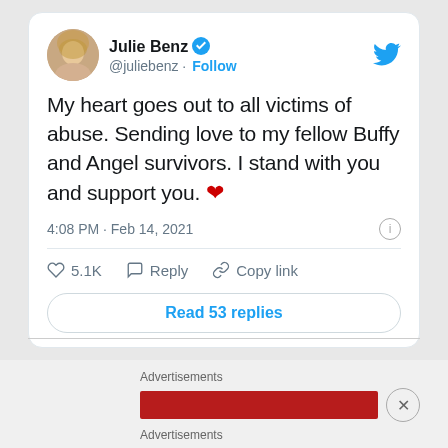[Figure (screenshot): Tweet by Julie Benz (@juliebenz) with verified badge and avatar photo]
Julie Benz @juliebenz · Follow
My heart goes out to all victims of abuse. Sending love to my fellow Buffy and Angel survivors. I stand with you and support you. ❤
4:08 PM · Feb 14, 2021
5.1K   Reply   Copy link
Read 53 replies
Advertisements
Advertisements